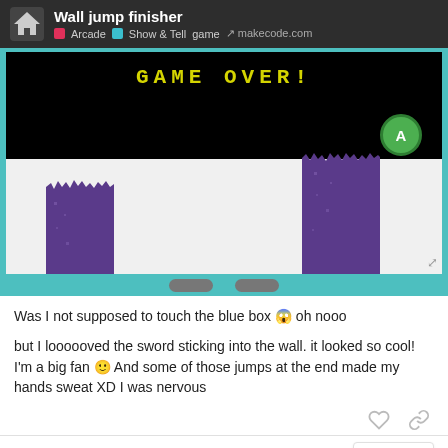Wall jump finisher | Arcade | Show & Tell | game | makecode.com
[Figure (screenshot): Game screenshot showing 'GAME OVER!' text in yellow on black background, with purple pixel-art pillars on a white platform. A green 'A' button circle visible on right side.]
Was I not supposed to touch the blue box 😱 oh nooo
but I loooooved the sword sticking into the wall. it looked so cool! I'm a big fan 🙂 And some of those jumps at the end made my hands sweat XD I was nervous
2 / 17